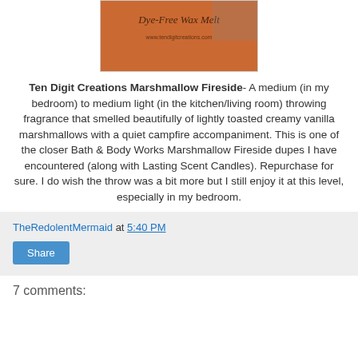[Figure (photo): Product photo of Ten Digit Creations Dye-Free Wax Melt package, orange/red packaging with text visible]
Ten Digit Creations Marshmallow Fireside- A medium (in my bedroom) to medium light (in the kitchen/living room) throwing fragrance that smelled beautifully of lightly toasted creamy vanilla marshmallows with a quiet campfire accompaniment. This is one of the closer Bath & Body Works Marshmallow Fireside dupes I have encountered (along with Lasting Scent Candles). Repurchase for sure. I do wish the throw was a bit more but I still enjoy it at this level, especially in my bedroom.
TheRedolentMermaid at 5:40 PM
Share
7 comments: